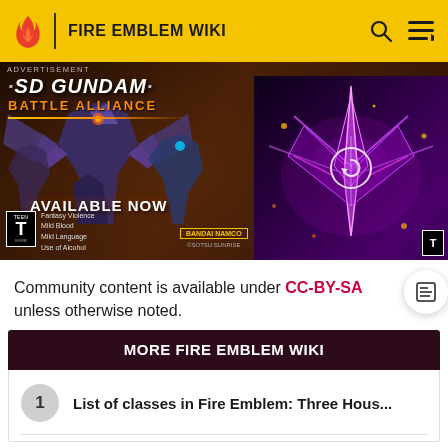FIRE EMBLEM WIKI
[Figure (screenshot): SD Gundam Battle Alliance advertisement banner. Shows robot mechs on dark rocky background. Text: SD GUNDAM BATTLE ALLIANCE. AVAILABLE NOW. ESRB Teen rating. Fantasy Violence, Mild Blood, Mild Language, Use of Alcohol. Bandai Namco logo. Right side shows a video panel with glowing mech and circular refresh/play button.]
Community content is available under CC-BY-SA unless otherwise noted.
MORE FIRE EMBLEM WIKI
1 List of classes in Fire Emblem: Three Hous...